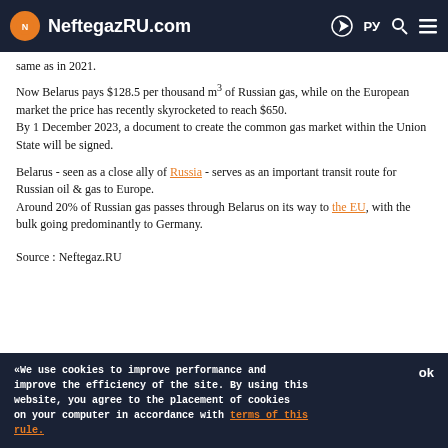NeftegazRU.com
same as in 2021.
Now Belarus pays $128.5 per thousand m³ of Russian gas, while on the European market the price has recently skyrocketed to reach $650.
By 1 December 2023, a document to create the common gas market within the Union State will be signed.
Belarus - seen as a close ally of Russia - serves as an important transit route for Russian oil & gas to Europe.
Around 20% of Russian gas passes through Belarus on its way to the EU, with the bulk going predominantly to Germany.
Source : Neftegaz.RU
#belarus #russia #gas market #roman golovchenko #russian gas #gas price
«We use cookies to improve performance and improve the efficiency of the site. By using this website, you agree to the placement of cookies on your computer in accordance with terms of this rule.   ok